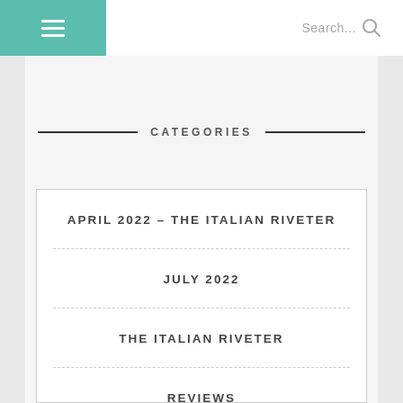≡  Search...
CATEGORIES
APRIL 2022 – THE ITALIAN RIVETER
JULY 2022
THE ITALIAN RIVETER
REVIEWS